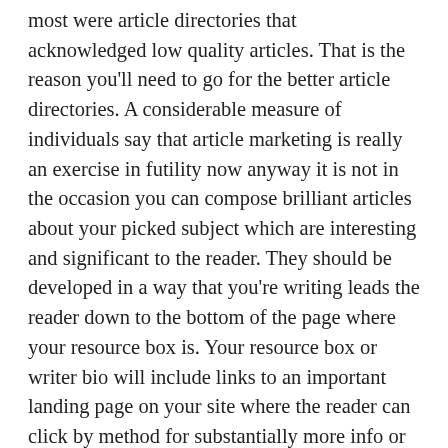most were article directories that acknowledged low quality articles. That is the reason you'll need to go for the better article directories. A considerable measure of individuals say that article marketing is really an exercise in futility now anyway it is not in the occasion you can compose brilliant articles about your picked subject which are interesting and significant to the reader. They should be developed in a way that you're writing leads the reader down to the bottom of the page where your resource box is. Your resource box or writer bio will include links to an important landing page on your site where the reader can click by method for substantially more info or to buy your thing. Article marketing fills another need. It will bring you back links to your site which are critical for moving your site up by means of the Google positions. The better your article is the more people which will read it and click by method for to your site. Compose to a great degree phenomenal article and that article itself might be positioned by Google bringing you substantially more traffic and back links. It can be